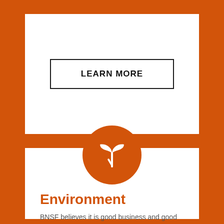LEARN MORE
[Figure (illustration): Orange circle with white plant/seedling leaf icon]
Environment
BNSF believes it is good business and good citizenship to minimize our impact on the planet.